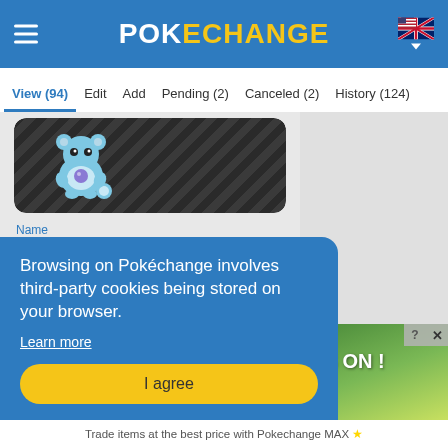POKECHANGE
View (94)  Edit  Add  Pending (2)  Canceled (2)  History (124)
[Figure (photo): Pokemon card featuring Larmeléon (Marill), dark background with diagonal lines]
Name
POB36 - Larméléon
Release date
2020-02-07
You would like to edit this element ?
Browsing on Pokéchange involves third-party cookies being stored on your browser.
Learn more
I agree
[Figure (photo): Advertisement banner showing IS ON! text over green/yellow nature background]
Trade items at the best price with Pokechange MAX ★